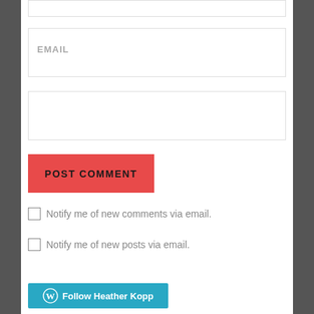EMAIL
WEBSITE
POST COMMENT
Notify me of new comments via email.
Notify me of new posts via email.
Follow Heather Kopp